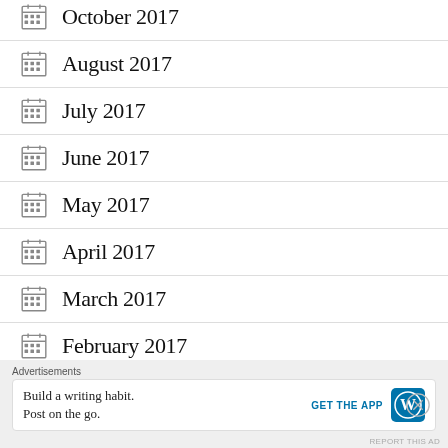October 2017
August 2017
July 2017
June 2017
May 2017
April 2017
March 2017
February 2017
Advertisements
Build a writing habit. Post on the go. GET THE APP